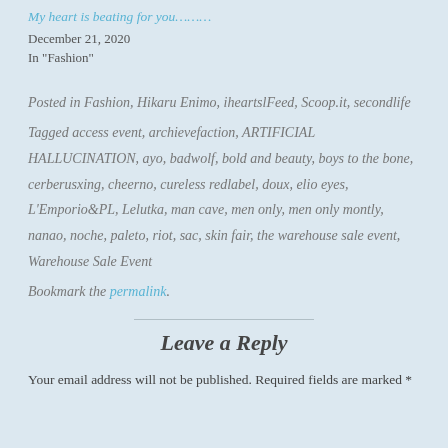My heart is beating for you………
December 21, 2020
In "Fashion"
Posted in Fashion, Hikaru Enimo, iheartslFeed, Scoop.it, secondlife
Tagged access event, archievefaction, ARTIFICIAL HALLUCINATION, ayo, badwolf, bold and beauty, boys to the bone, cerberusxing, cheerno, cureless redlabel, doux, elio eyes, L'Emporio&PL, Lelutka, man cave, men only, men only montly, nanao, noche, paleto, riot, sac, skin fair, the warehouse sale event, Warehouse Sale Event
Bookmark the permalink.
Leave a Reply
Your email address will not be published. Required fields are marked *